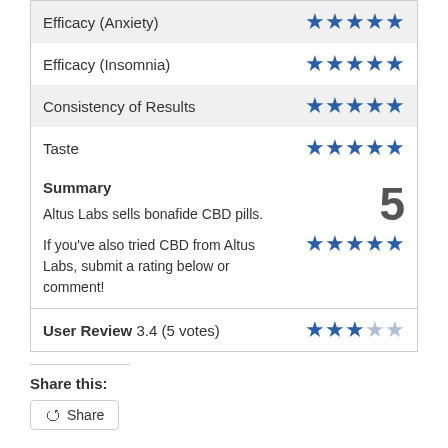| Category | Rating |
| --- | --- |
| Efficacy (Anxiety) | ★★★★★ |
| Efficacy (Insomnia) | ★★★★★ |
| Consistency of Results | ★★★★★ |
| Taste | ★★★★★ |
| Summary | 5 / ★★★★★ |
| User Review 3.4 (5 votes) | ★★★☆☆ |
Share this:
Share